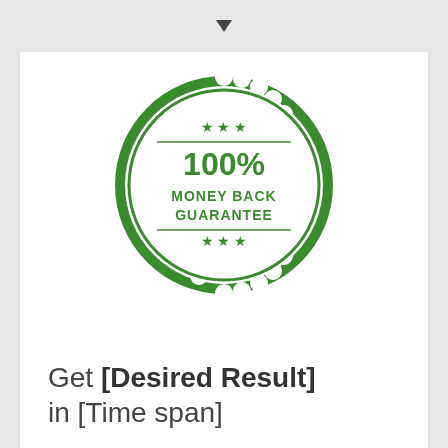[Figure (illustration): Down arrow icon in dark color centered at top of page]
[Figure (illustration): Green circular badge/seal with scalloped border, stars, and text reading 100% MONEY BACK GUARANTEE]
Get [Desired Result] in [Time span]